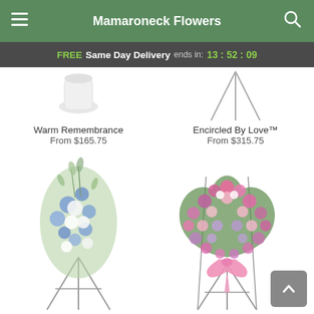Mamaroneck Flowers
FREE Same Day Delivery ends in: 13:52:09
Warm Remembrance
From $165.75
Encircled By Love™
From $315.75
[Figure (photo): Blue and white funeral flower standing spray arrangement on a metal easel stand]
[Figure (photo): Pink heart-shaped floral wreath with pink roses, purple flowers, and a pink ribbon bow on a metal easel stand]